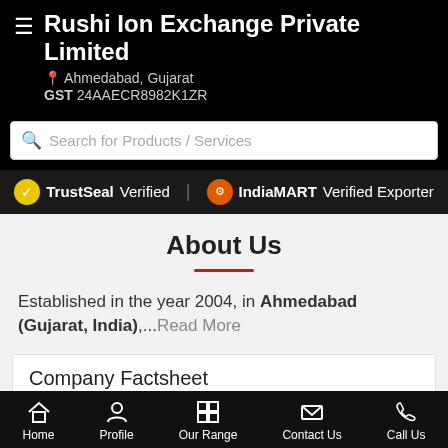Rushi Ion Exchange Private Limited | Ahmedabad, Gujarat | GST 24AAECR8982K1ZR
Search for Products / Services
TrustSeal Verified | IndiaMART Verified Exporter
About Us
Established in the year 2004, in Ahmedabad (Gujarat, India),...Read More
Company Factsheet
Basic Information
Nature of Business: Exporter and Manufacturer
Home | Profile | Our Range | Contact Us | Call Us